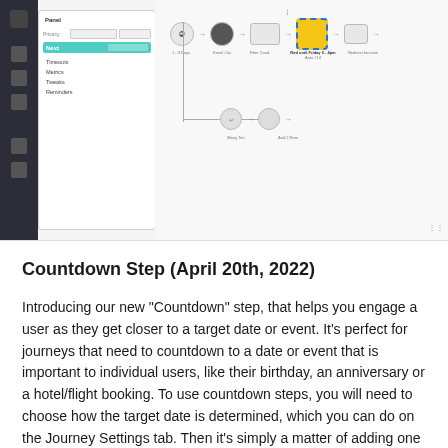[Figure (screenshot): Screenshot of a journey builder UI showing a flow diagram with connected nodes including a highlighted active node with dashed blue border and yellow background labeled with countdown step, alongside a left panel with settings and menu items.]
Countdown Step (April 20th, 2022)
Introducing our new “Countdown” step, that helps you engage a user as they get closer to a target date or event. It’s perfect for journeys that need to countdown to a date or event that is important to individual users, like their birthday, an anniversary or a hotel/flight booking. To use countdown steps, you will need to choose how the target date is determined, which you can do on the Journey Settings tab. Then it’s simply a matter of adding one or more countdown steps to your journey and